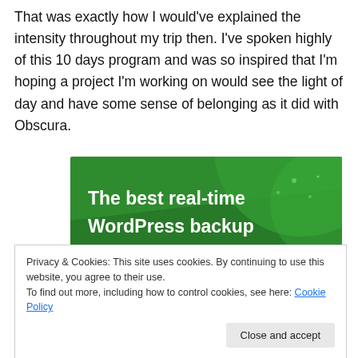That was exactly how I would've explained the intensity throughout my trip then. I've spoken highly of this 10 days program and was so inspired that I'm hoping a project I'm working on would see the light of day and have some sense of belonging as it did with Obscura.
[Figure (illustration): Green banner advertisement with text 'The best real-time WordPress backup plugin' in white bold text on a dark green background with decorative circular shapes.]
Privacy & Cookies: This site uses cookies. By continuing to use this website, you agree to their use.
To find out more, including how to control cookies, see here: Cookie Policy
Close and accept